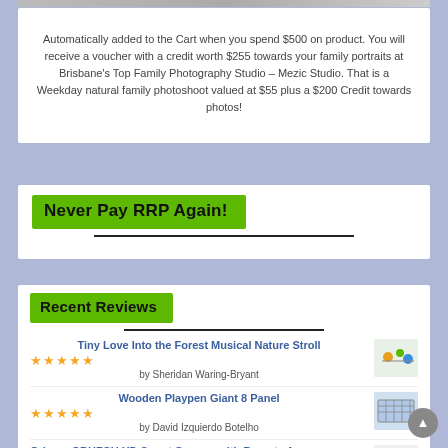[Figure (photo): Top image strip showing a photo partially visible at the top edge]
Automatically added to the Cart when you spend $500 on product. You will receive a voucher with a credit worth $255 towards your family portraits at Brisbane's Top Family Photography Studio – Mezic Studio. That is a Weekday natural family photoshoot valued at $55 plus a $200 Credit towards photos!
Never Pay RRP Again!
Recent Reviews
Tiny Love Into the Forest Musical Nature Stroll
★★★★★
by Sheridan Waring-Bryant
Wooden Playpen Giant 8 Panel
★★★★★
by David Izquierdo Botelho
Oricom OBHFCU HD Smart Camera with Remote Access
★★★★★